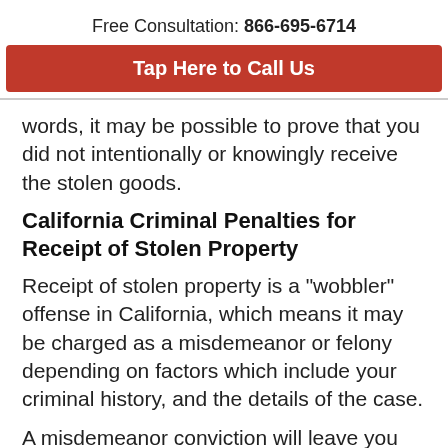Free Consultation: 866-695-6714
Tap Here to Call Us
words, it may be possible to prove that you did not intentionally or knowingly receive the stolen goods.
California Criminal Penalties for Receipt of Stolen Property
Receipt of stolen property is a "wobbler" offense in California, which means it may be charged as a misdemeanor or felony depending on factors which include your criminal history, and the details of the case.
A misdemeanor conviction will leave you